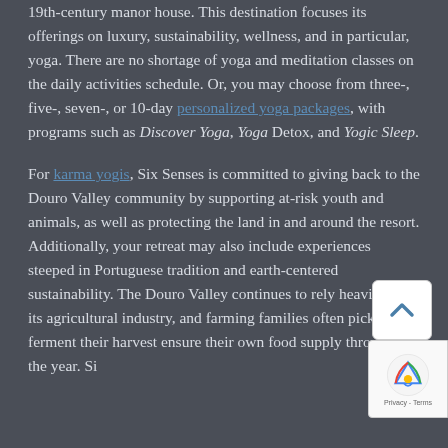19th-century manor house. This destination focuses its offerings on luxury, sustainability, wellness, and in particular, yoga. There are no shortage of yoga and meditation classes on the daily activities schedule. Or, you may choose from three-, five-, seven-, or 10-day personalized yoga packages, with programs such as Discover Yoga, Yoga Detox, and Yogic Sleep.

For karma yogis, Six Senses is committed to giving back to the Douro Valley community by supporting at-risk youth and animals, as well as protecting the land in and around the resort. Additionally, your retreat may also include experiences steeped in Portuguese tradition and earth-centered sustainability. The Douro Valley continues to rely heavily on its agricultural industry, and farming families often pickle and ferment their harvest ensure their own food supply throughout the year. Si